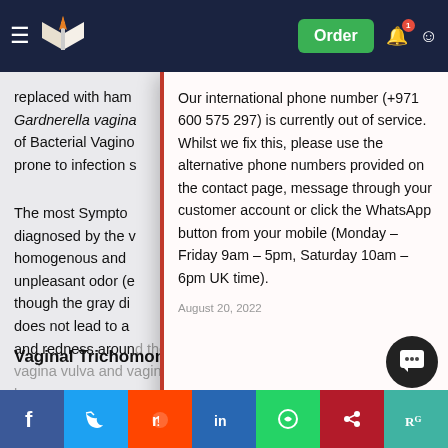Navigation bar with logo, hamburger menu, Order button, notification bell, and user icon
replaced with ham Gardnerella vagina of Bacterial Vagino prone to infection s
The most Sympto diagnosed by the v homogenous and unpleasant odor (e though the gray di does not lead to a and redness around the vagina vulva and vagina becomes more alkaline pH [10, 11].
Our international phone number (+971 600 575 297) is currently out of service. Whilst we fix this, please use the alternative phone numbers provided on the contact page, message through your customer account or click the WhatsApp button from your mobile (Monday – Friday 9am – 5pm, Saturday 10am – 6pm UK time).
August 20, 2022
Vaginal Trichomoniasis
Trichomo du t b Trichomonas vaginalis which leads to vaginitis in female. T.